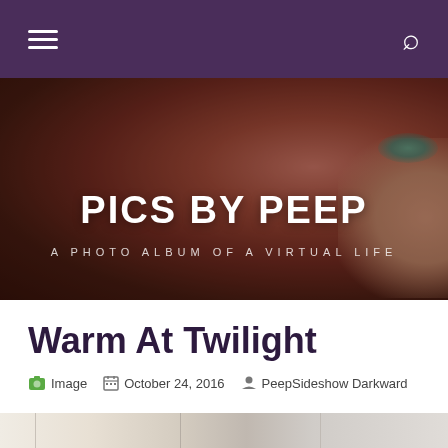Navigation bar with hamburger menu and search icon
[Figure (photo): Hero banner with close-up of a red-haired woman with teal eye makeup, overlaid with site title and subtitle]
PICS BY PEEP
A PHOTO ALBUM OF A VIRTUAL LIFE
Warm At Twilight
Image   October 24, 2016   PeepSideshow Darkward
[Figure (photo): Bottom portion of a sepia-toned interior photo showing windows and a staircase]